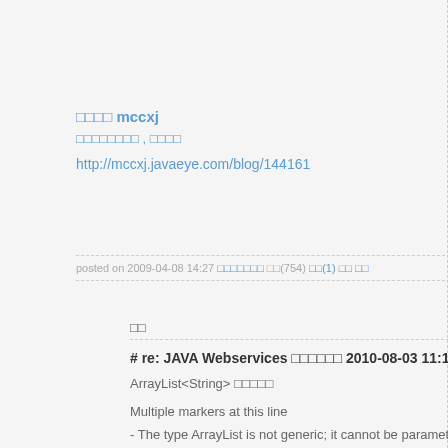□□□□ mccxj
□□□□□□□□ , □□□□
http://mccxj.javaeye.com/blog/144161
posted on 2009-04-08 14:27 □□□□□□□ □□(754) □□(1) □□ □□
□□
# re: JAVA Webservices □□□□□□ 2010-08-03 11:13 lb_rain
ArrayList<String> □□□□□

Multiple markers at this line
- The type ArrayList is not generic; it cannot be parameterized with arguments <String>
- Syntax error, parameterized types are only available if source level
is 5.0